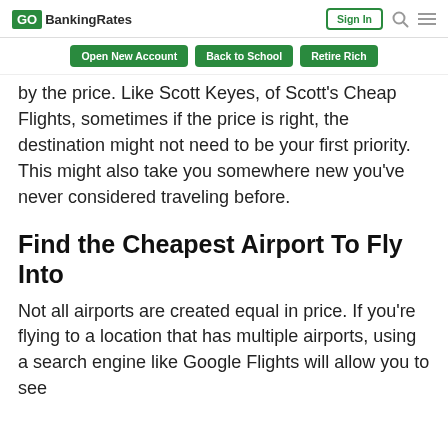GOBankingRates | Sign In
Open New Account | Back to School | Retire Rich
by the price. Like Scott Keyes, of Scott's Cheap Flights, sometimes if the price is right, the destination might not need to be your first priority. This might also take you somewhere new you've never considered traveling before.
Find the Cheapest Airport To Fly Into
Not all airports are created equal in price. If you're flying to a location that has multiple airports, using a search engine like Google Flights will allow you to see